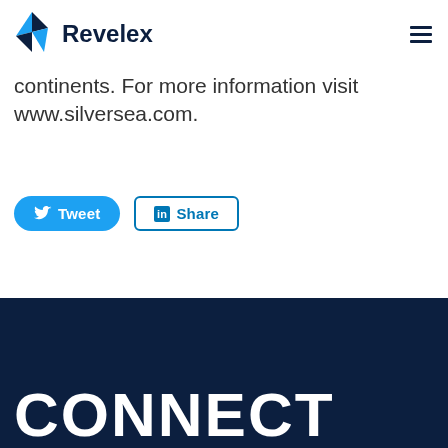Revelex
continents. For more information visit www.silversea.com.
[Figure (other): Tweet and Share social media buttons]
CONNECT